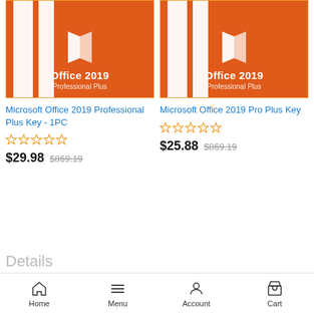[Figure (screenshot): Microsoft Office 2019 Professional Plus product image with orange background and M logo]
Microsoft Office 2019 Professional Plus Key - 1PC
☆☆☆☆☆
$29.98  $869.19
[Figure (screenshot): Microsoft Office 2019 Pro Plus product image with orange background and M logo]
Microsoft Office 2019 Pro Plus Key
☆☆☆☆☆
$25.88  $869.19
Details
Home  Menu  Account  Cart